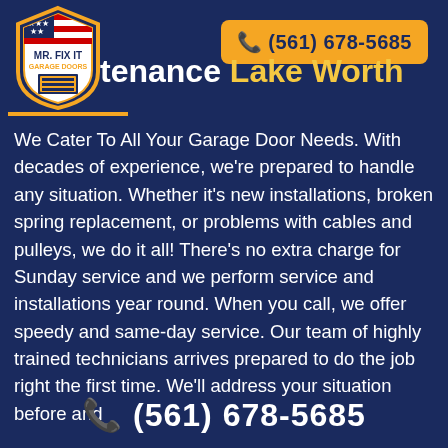[Figure (logo): Mr. Fix It Garage Doors shield logo with American flag motif]
(561) 678-5685
Maintenance Lake Worth
We Cater To All Your Garage Door Needs. With decades of experience, we're prepared to handle any situation. Whether it's new installations, broken spring replacement, or problems with cables and pulleys, we do it all! There's no extra charge for Sunday service and we perform service and installations year round. When you call, we offer speedy and same-day service. Our team of highly trained technicians arrives prepared to do the job right the first time. We'll address your situation before and
(561) 678-5685